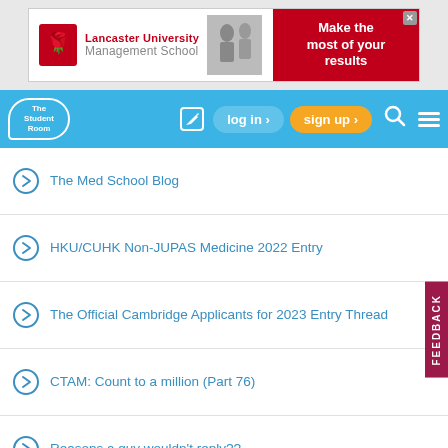[Figure (screenshot): Lancaster University Management School advertisement banner with red logo and 'Make the most of your results' text]
[Figure (screenshot): The Student Room navigation bar with logo, log in, sign up, search and menu buttons]
The Med School Blog
HKU/CUHK Non-JUPAS Medicine 2022 Entry
The Official Cambridge Applicants for 2023 Entry Thread
CTAM: Count to a million (Part 76)
Reasons a guy wouldn't reply??
Girls Vs. Boys (Part 44)
Apply to Veterinary Medicine after gap year, but need help
WHSmith